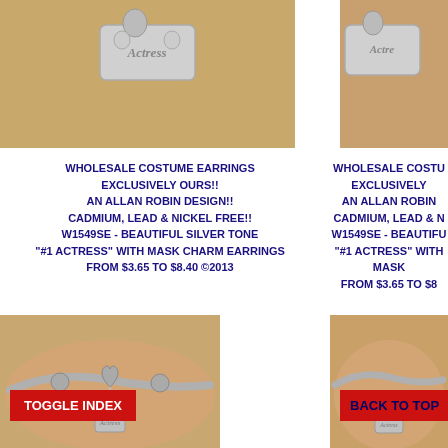[Figure (photo): Silver 'Actress' charm pendant on tan background, close-up top-left]
[Figure (photo): Silver 'Actress' charm pendant on tan background, close-up top-right (partially cropped)]
WHOLESALE COSTUME EARRINGS EXCLUSIVELY OURS!! AN ALLAN ROBIN DESIGN!! CADMIUM, LEAD & NICKEL FREE!! W1549SE - BEAUTIFUL SILVER TONE "#1 ACTRESS" WITH MASK CHARM EARRINGS FROM $3.65 TO $8.40 ©2013
WHOLESALE COSTUME... EXCLUSIVELY... AN ALLAN ROBIN... CADMIUM, LEAD & N... W1549SE - BEAUTIFUL... "#1 ACTRESS" WITH MASK... FROM $3.65 TO $8...
[Figure (photo): Silver bracelet with heart clasp and Actress charm, bottom-left]
[Figure (photo): Silver chain bracelet with Actress charm, bottom-right (partially cropped)]
TOGGLE INDEX
BACK TO TOP